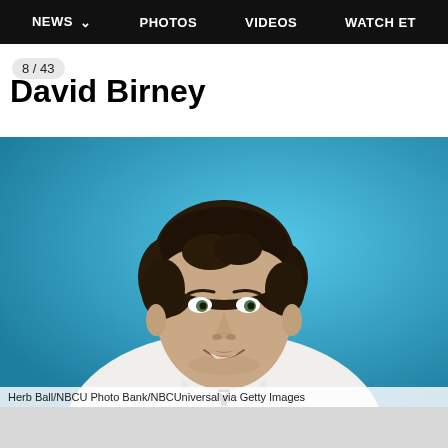NEWS  PHOTOS  VIDEOS  WATCH ET
David Birney
8 / 43
[Figure (photo): Portrait photo of David Birney, a man with curly dark brown hair, wearing a white lab coat, collared shirt, and dark tie, smiling against a blue background. Professional headshot style.]
Herb Ball/NBCU Photo Bank/NBCUniversal via Getty Images